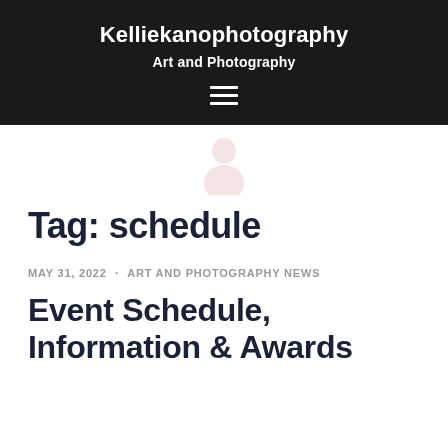Kelliekanophotography
Art and Photography
[Figure (other): Hamburger menu icon (three horizontal white lines) in header]
[Figure (other): Faint pink/rose person/avatar silhouette icon centered on white background]
Tag: schedule
MAY 31, 2022 · ART AND PHOTOGRAPHY NEWS
Event Schedule, Information & Awards